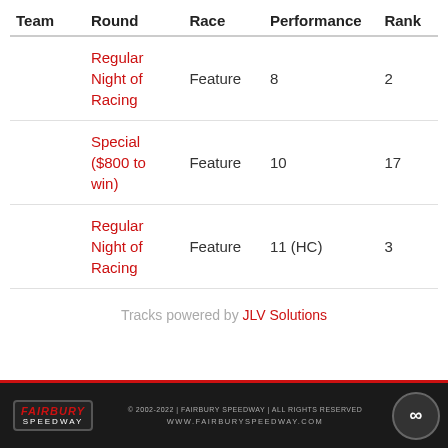| Team | Round | Race | Performance | Rank |
| --- | --- | --- | --- | --- |
|  | Regular Night of Racing | Feature | 8 | 2 |
|  | Special ($800 to win) | Feature | 10 | 17 |
|  | Regular Night of Racing | Feature | 11 (HC) | 3 |
Tracks powered by JLV Solutions
© 2002-2022 | FAIRBURY SPEEDWAY | ALL RIGHTS RESERVED  |  WWW.FAIRBURYSPEEDWAY.COM